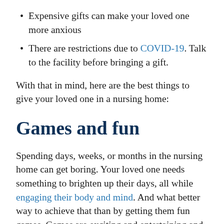Expensive gifts can make your loved one more anxious
There are restrictions due to COVID-19. Talk to the facility before bringing a gift.
With that in mind, here are the best things to give your loved one in a nursing home:
Games and fun
Spending days, weeks, or months in the nursing home can get boring. Your loved one needs something to brighten up their days, all while engaging their body and mind. And what better way to achieve that than by getting them fun games. Games are exciting and entertaining and can also